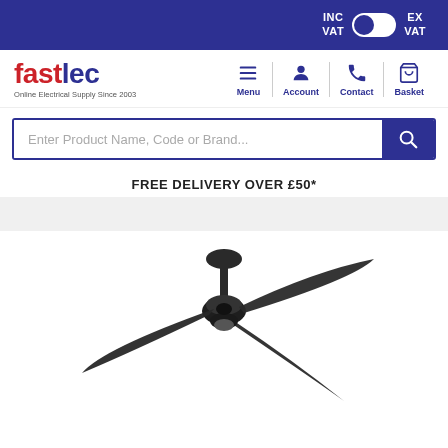INC VAT [toggle] EX VAT
[Figure (logo): fastlec logo with tagline 'Online Electrical Supply Since 2003']
Menu | Account | Contact | Basket
Enter Product Name, Code or Brand...
FREE DELIVERY OVER £50*
[Figure (photo): A dark-colored ceiling fan with three blades, viewed slightly from above, on a white background]